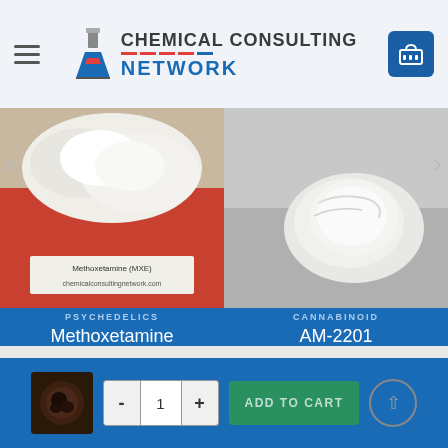[Figure (screenshot): Chemical Consulting Network website header with hamburger menu, flask logo, and shopping cart button]
[Figure (photo): Photo of Methoxetamine (MXE) white crystalline powder on red surface with label]
[Figure (photo): Photo of AM-2201 white powder on grey surface]
PSYCHEDELICS
Methoxetamine
$230 – $9,500
SELECT OPTIONS
CANNABINOID
AM-2201
$230 – $16,000
SELECT OPTIONS
[Figure (photo): Small product thumbnail image in bottom cart bar]
- 1 + ADD TO CART